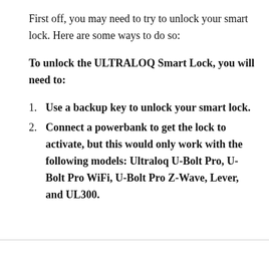First off, you may need to try to unlock your smart lock. Here are some ways to do so:
To unlock the ULTRALOQ Smart Lock, you will need to:
Use a backup key to unlock your smart lock.
Connect a powerbank to get the lock to activate, but this would only work with the following models: Ultraloq U-Bolt Pro, U-Bolt Pro WiFi, U-Bolt Pro Z-Wave, Lever, and UL300.